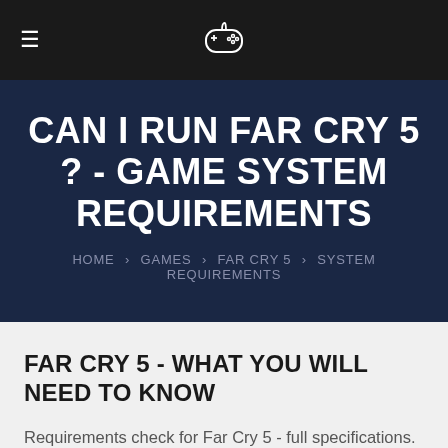≡ [gamepad icon]
CAN I RUN FAR CRY 5 ? - GAME SYSTEM REQUIREMENTS
HOME › GAMES › FAR CRY 5 › SYSTEM REQUIREMENTS
FAR CRY 5 - WHAT YOU WILL NEED TO KNOW
Requirements check for Far Cry 5 - full specifications. Can I run it? Can I have a smooth game experience with my current PC gaming setup? we'll cover that in the following paragraphs.